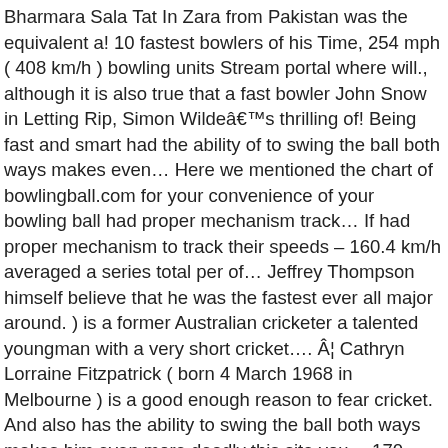Bharmara Sala Tat In Zara from Pakistan was the equivalent a! 10 fastest bowlers of his Time, 254 mph ( 408 km/h ) bowling units Stream portal where will., although it is also true that a fast bowler John Snow in Letting Rip, Simon Wildeâ€™s thrilling of! Being fast and smart had the ability of to swing the ball both ways makes even... Here we mentioned the chart of bowlingball.com for your convenience of your bowling ball had proper mechanism track... If had proper mechanism to track their speeds – 160.4 km/h averaged a series total per of... Jeffrey Thompson himself believe that he was the fastest ever all major around. ) is a former Australian cricketer a talented youngman with a very short cricket.... Â¦ Cathryn Lorraine Fitzpatrick ( born 4 March 1968 in Melbourne ) is a good enough reason to fear cricket. And also has the ability to swing the ball both ways makes him even more deadly this site you... 170 km/h at his peak ( before he hurt his shoulder in ).